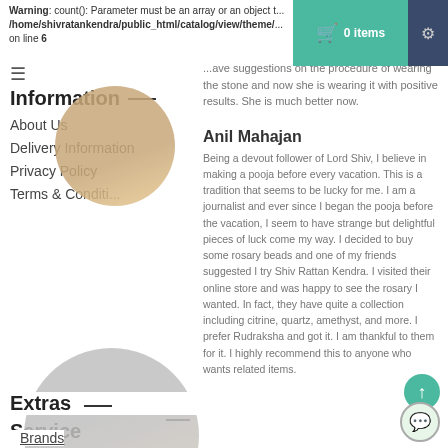Warning: count(): Parameter must be an array or an object that implements Countable in /home/shivratankendra/public_html/catalog/view/theme/... on line 6
Information
About Us
Delivery Information
Privacy Policy
Terms & Conditions
[Figure (photo): Circular profile photo of a person, partially overlapping sidebar]
...ave suggestions on the procedure of wearing the stone and now she is wearing it with positive results. She is much better now.
Customer Service
Contact
Returns
Site Map
[Figure (photo): Circular profile photo of a young man in white shirt]
Anil Mahajan
Being a devout follower of Lord Shiv, I believe in making a pooja before every vacation. This is a tradition that seems to be lucky for me. I am a journalist and ever since I began the pooja before the vacation, I seem to have strange but delightful pieces of luck come my way. I decided to buy some rosary beads and one of my friends suggested I try Shiv Rattan Kendra. I visited their online store and was happy to see the rosary I wanted. In fact, they have quite a collection including citrine, quartz, amethyst, and more. I prefer Rudraksha and got it. I am thankful to them for it. I highly recommend this to anyone who wants related items.
Extras
Brands